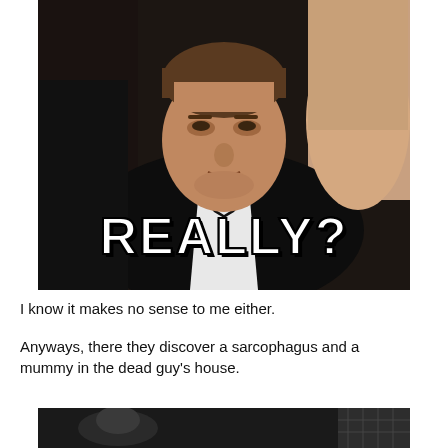[Figure (photo): Man in black tuxedo with bow tie at formal event, with text overlay 'REALLY?' in bold white letters with black outline]
I know it makes no sense to me either.
Anyways, there they discover a sarcophagus and a mummy in the dead guy's house.
[Figure (photo): Black and white photo, bottom portion visible showing mummy or wrapped figure]